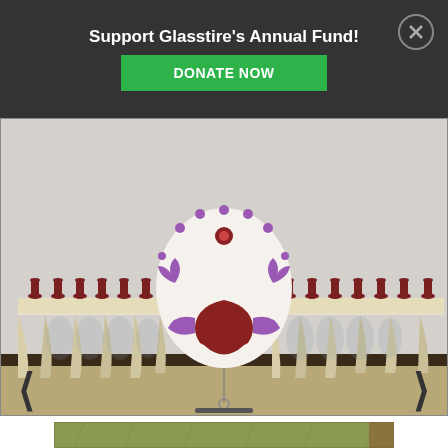Support Glasstire's Annual Fund! DONATE NOW
[Figure (photo): Gallery installation photo showing two draped tables with rows of dark red chalices/goblets on each side, and a central decorative oval wall piece featuring bird/floral motifs in purple and red on white background with a hanging element beneath it. The artwork is mounted on a light grey gallery wall.]
[Figure (photo): Partial view of a second artwork — appears to be a green/yellow textured painting or mixed-media piece, partially visible at the bottom of the page.]